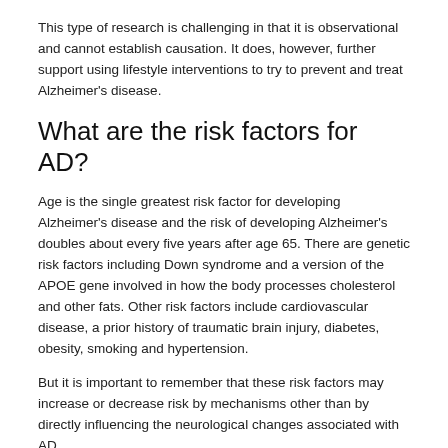This type of research is challenging in that it is observational and cannot establish causation. It does, however, further support using lifestyle interventions to try to prevent and treat Alzheimer's disease.
What are the risk factors for AD?
Age is the single greatest risk factor for developing Alzheimer's disease and the risk of developing Alzheimer's doubles about every five years after age 65. There are genetic risk factors including Down syndrome and a version of the APOE gene involved in how the body processes cholesterol and other fats. Other risk factors include cardiovascular disease, a prior history of traumatic brain injury, diabetes, obesity, smoking and hypertension.
But it is important to remember that these risk factors may increase or decrease risk by mechanisms other than by directly influencing the neurological changes associated with AD.
For example, smoking may increase the risk of cardiovascular disease, which leads to an increased risk of dementia. This does not mean that smoking directly impacts the plaques and tangles in the brain that are associated with AD.